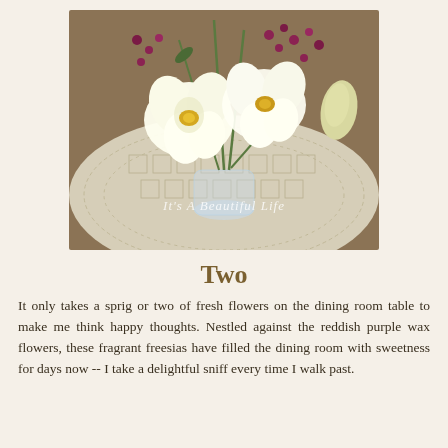[Figure (photo): A close-up photograph of white freesia flowers with yellow centers, nestled against reddish-purple wax flowers and green stems, arranged in a clear vase sitting on a lace or crocheted white doily on a wooden table. A watermark reads 'It's A Beautiful Life' in italic script.]
Two
It only takes a sprig or two of fresh flowers on the dining room table to make me think happy thoughts. Nestled against the reddish purple wax flowers, these fragrant freesias have filled the dining room with sweetness for days now -- I take a delightful sniff every time I walk past.